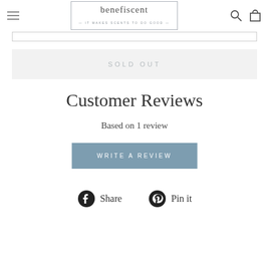benefiscent — IT MAKES SCENTS TO DO GOOD —
SOLD OUT
Customer Reviews
Based on 1 review
WRITE A REVIEW
Share  Pin it